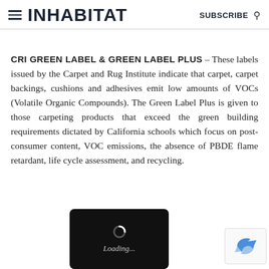INHABITAT  SUBSCRIBE
CRI GREEN LABEL & GREEN LABEL PLUS – These labels issued by the Carpet and Rug Institute indicate that carpet, carpet backings, cushions and adhesives emit low amounts of VOCs (Volatile Organic Compounds). The Green Label Plus is given to those carpeting products that exceed the green building requirements dictated by California schools which focus on post-consumer content, VOC emissions, the absence of PBDE flame retardant, life cycle assessment, and recycling.
[Figure (other): Loading spinner in a black rounded rectangle box with 'Loading...' text in italic, positioned at bottom center of page. A reCAPTCHA logo stub appears at bottom right.]